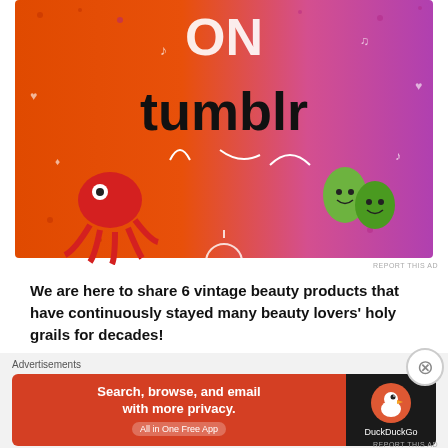[Figure (photo): Tumblr advertisement banner with colorful orange/pink/purple gradient background, showing the word 'tumblr' in bold black text, with cartoon stickers including a red octopus and green leaf characters, and various doodles]
REPORT THIS AD
We are here to share 6 vintage beauty products that have continuously stayed many beauty lovers' holy grails for decades!
BENEFIT BENTINT CHEEK & LIP STAIN
[Figure (photo): Two Benefit Bentint Cheek & Lip Stain product images: a round pink shimmer compact on the left and a red lip stain applicator on the right]
Advertisements
[Figure (other): DuckDuckGo advertisement banner: red left panel with text 'Search, browse, and email with more privacy. All in One Free App' and dark right panel with DuckDuckGo duck logo]
REPORT THIS AD